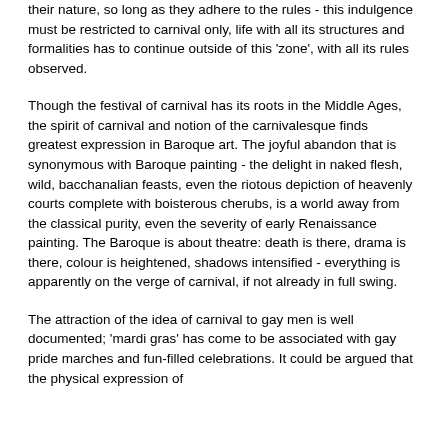their nature, so long as they adhere to the rules - this indulgence must be restricted to carnival only, life with all its structures and formalities has to continue outside of this 'zone', with all its rules observed.
Though the festival of carnival has its roots in the Middle Ages, the spirit of carnival and notion of the carnivalesque finds greatest expression in Baroque art. The joyful abandon that is synonymous with Baroque painting - the delight in naked flesh, wild, bacchanalian feasts, even the riotous depiction of heavenly courts complete with boisterous cherubs, is a world away from the classical purity, even the severity of early Renaissance painting. The Baroque is about theatre: death is there, drama is there, colour is heightened, shadows intensified - everything is apparently on the verge of carnival, if not already in full swing.
The attraction of the idea of carnival to gay men is well documented; 'mardi gras' has come to be associated with gay pride marches and fun-filled celebrations. It could be argued that the physical expression of